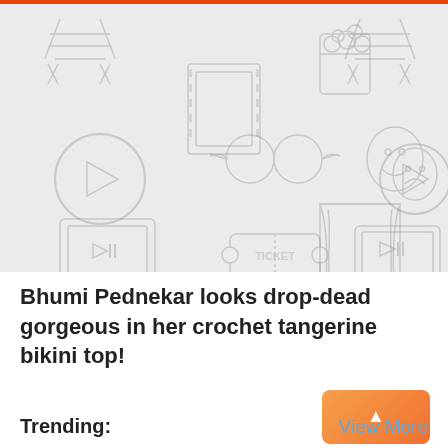[Figure (illustration): Entertainment/movie themed icon pattern background with clapperboard, film reel, glasses, ticket, popcorn, trophy, play buttons, theater masks and curtains on light gray background]
Bhumi Pednekar looks drop-dead gorgeous in her crochet tangerine bikini top!
Trending:
View More